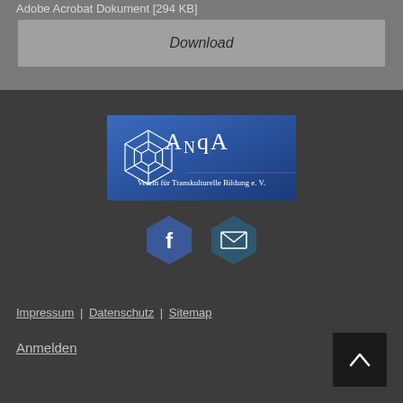Adobe Acrobat Dokument [294 KB]
Download
[Figure (logo): ANqA - Verein für Transkulturelle Bildung e.V. logo on blue gradient background with white geometric pattern]
[Figure (infographic): Two hexagonal social media icons: Facebook (f) and Email (envelope)]
Impressum | Datenschutz | Sitemap
Anmelden